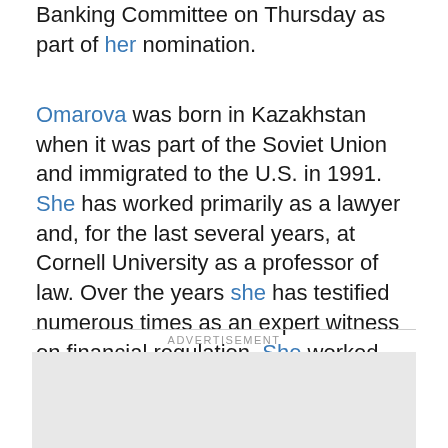Banking Committee on Thursday as part of her nomination.
Omarova was born in Kazakhstan when it was part of the Soviet Union and immigrated to the U.S. in 1991. She has worked primarily as a lawyer and, for the last several years, at Cornell University as a professor of law. Over the years she has testified numerous times as an expert witness on financial regulation. She worked briefly in the administration of President George W. Bush.
ADVERTISEMENT